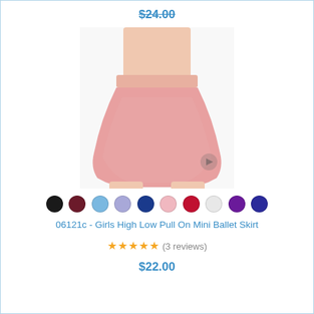$24.00
[Figure (photo): Product photo of a pink girls mini ballet skirt worn on a mannequin torso and upper legs, shown on white background]
[Figure (other): Color swatch circles: black, dark red/maroon, light blue, lavender, navy, light pink, red, white/light gray, purple, dark blue]
06121c - Girls High Low Pull On Mini Ballet Skirt
★★★★★ (3 reviews)
$22.00